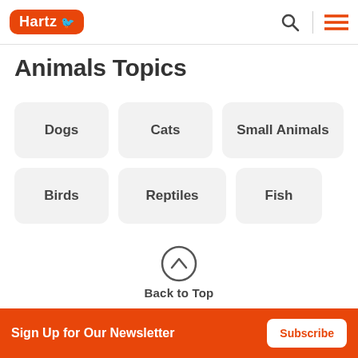Hartz
Animals Topics
Dogs
Cats
Small Animals
Birds
Reptiles
Fish
Back to Top
Sign Up for Our Newsletter  Subscribe